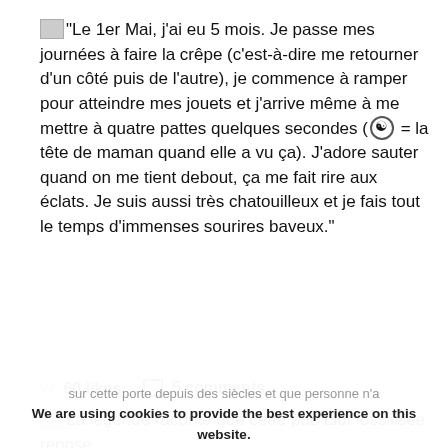"Le 1er Mai, j'ai eu 5 mois. Je passe mes journées à faire la crêpe (c'est-à-dire me retourner d'un côté puis de l'autre), je commence à ramper pour atteindre mes jouets et j'arrive même à me mettre à quatre pattes quelques secondes (😵 = la tête de maman quand elle a vu ça). J'adore sauter quand on me tient debout, ça me fait rire aux éclats. Je suis aussi très chatouilleux et je fais tout le temps d'immenses sourires baveux."
♡ 60 likes  □ 5 comments
La légende raconte que cette pub Lidl fossilisée repose sur cette porte depuis des siècles et que personne n'a jamais osé la retirer.
We are using cookies to provide the best experience on this website. If you continue to use this website, we will consider that you accept our use of cookies.
OK
MENTIONS LÉGALES